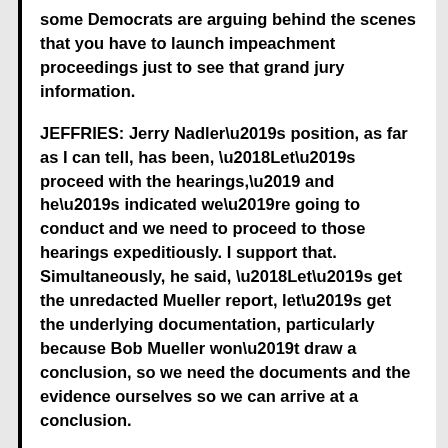some Democrats are arguing behind the scenes that you have to launch impeachment proceedings just to see that grand jury information.
JEFFRIES: Jerry Nadler’s position, as far as I can tell, has been, ‘Let’s proceed with the hearings,’ and he’s indicated we’re going to conduct and we need to proceed to those hearings expeditiously. I support that. Simultaneously, he said, ‘Let’s get the unredacted Mueller report, let’s get the underlying documentation, particularly because Bob Mueller won’t draw a conclusion, so we need the documents and the evidence ourselves so we can arrive at a conclusion.